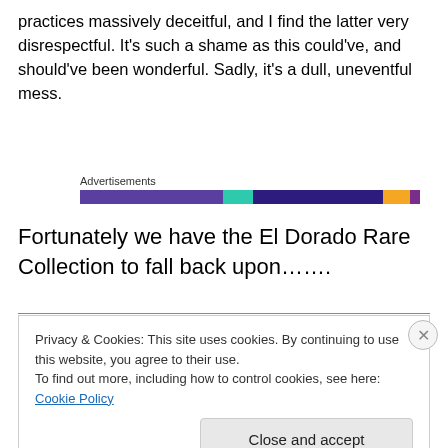practices massively deceitful, and I find the latter very disrespectful. It's such a shame as this could've, and should've been wonderful. Sadly, it's a dull, uneventful mess.
[Figure (infographic): Advertisements label above a horizontal multicolored segmented bar (purple, teal, dark navy, orange, dark purple segments)]
Fortunately we have the El Dorado Rare Collection to fall back upon…….
Privacy & Cookies: This site uses cookies. By continuing to use this website, you agree to their use.
To find out more, including how to control cookies, see here: Cookie Policy
[Close and accept button]